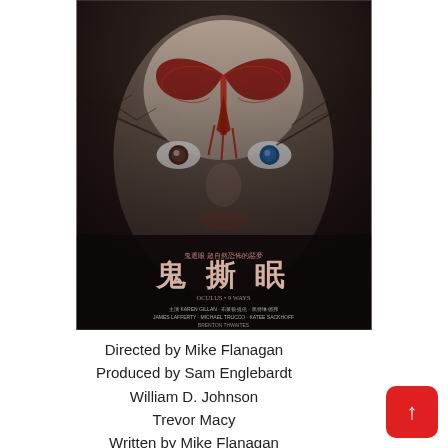[Figure (illustration): Chinese horror movie poster for '鬼撕眠' (Oculus). Shows a pale child's face with blue eyes, a bloody red moth/butterfly on the forehead, dark tree branches overlaid, and Chinese text including large characters '鬼撕眠' with smaller credits text and '7.1' release date at the bottom.]
Directed by Mike Flanagan
Produced by Sam Englebardt
William D. Johnson
Trevor Macy
Written by Mike Flanagan
Jeff Howard